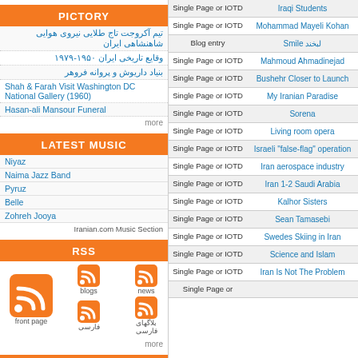PICTORY
تیم آکروجت تاج طلایی نیروی هوایی شاهنشاهی ایران
وقایع تاریخی ایران ۱۹۵۰-۱۹۷۹
بنیاد داریوش و پروانه فروهر
Shah & Farah Visit Washington DC National Gallery (1960)
Hasan-ali Mansour Funeral
more
LATEST MUSIC
Niyaz
Naima Jazz Band
Pyruz
Belle
Zohreh Jooya
Iranian.com Music Section
RSS
[Figure (infographic): RSS feed icons for front page, blogs, news, فارسی, بلاگهای فارسی]
more
SEARCH
[Figure (logo): Google logo partial]
| Type | Link |
| --- | --- |
| Single Page or IOTD | Iraqi Students |
| Single Page or IOTD | Mohammad Mayeli Kohan |
| Blog entry | Smile لبخند |
| Single Page or IOTD | Mahmoud Ahmadinejad |
| Single Page or IOTD | Bushehr Closer to Launch |
| Single Page or IOTD | My Iranian Paradise |
| Single Page or IOTD | Sorena |
| Single Page or IOTD | Living room opera |
| Single Page or IOTD | Israeli "false-flag" operation |
| Single Page or IOTD | Iran aerospace industry |
| Single Page or IOTD | Iran 1-2 Saudi Arabia |
| Single Page or IOTD | Kalhor Sisters |
| Single Page or IOTD | Sean Tamasebi |
| Single Page or IOTD | Swedes Skiing in Iran |
| Single Page or IOTD | Science and Islam |
| Single Page or IOTD | Iran Is Not The Problem |
| Single Page or |  |